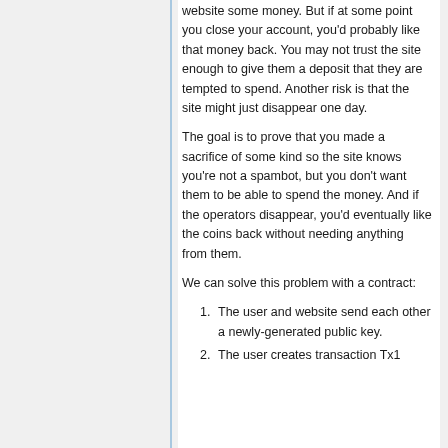website some money. But if at some point you close your account, you'd probably like that money back. You may not trust the site enough to give them a deposit that they are tempted to spend. Another risk is that the site might just disappear one day.
The goal is to prove that you made a sacrifice of some kind so the site knows you're not a spambot, but you don't want them to be able to spend the money. And if the operators disappear, you'd eventually like the coins back without needing anything from them.
We can solve this problem with a contract:
The user and website send each other a newly-generated public key.
The user creates transaction Tx1